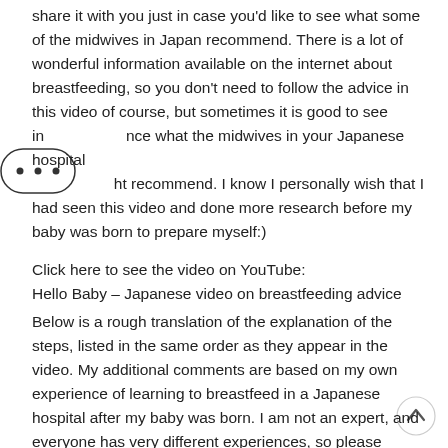share it with you just in case you'd like to see what some of the midwives in Japan recommend. There is a lot of wonderful information available on the internet about breastfeeding, so you don't need to follow the advice in this video of course, but sometimes it is good to see in advance what the midwives in your Japanese hospital might recommend. I know I personally wish that I had seen this video and done more research before my baby was born to prepare myself:)
Click here to see the video on YouTube:
Hello Baby – Japanese video on breastfeeding advice
Below is a rough translation of the explanation of the steps, listed in the same order as they appear in the video. My additional comments are based on my own experience of learning to breastfeed in a Japanese hospital after my baby was born. I am not an expert, and everyone has very different experiences, so please understand that